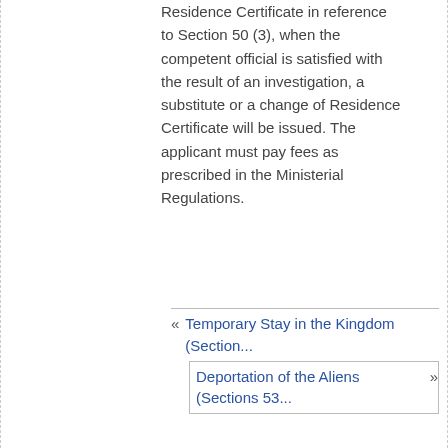Residence Certificate in reference to Section 50 (3), when the competent official is satisfied with the result of an investigation, a substitute or a change of Residence Certificate will be issued. The applicant must pay fees as prescribed in the Ministerial Regulations.
« Temporary Stay in the Kingdom (Section...
Deportation of the Aliens (Sections 53... »